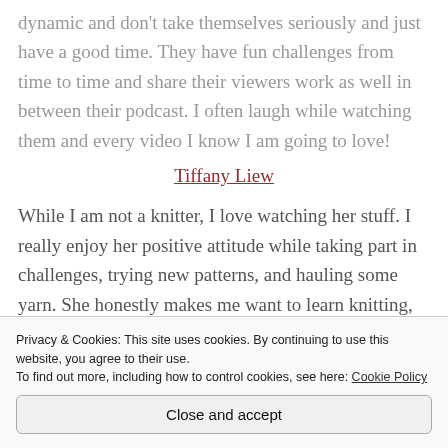dynamic and don't take themselves seriously and just have a good time. They have fun challenges from time to time and share their viewers work as well in between their podcast. I often laugh while watching them and every video I know I am going to love!
Tiffany Liew
While I am not a knitter, I love watching her stuff. I really enjoy her positive attitude while taking part in challenges, trying new patterns, and hauling some yarn. She honestly makes me want to learn knitting, maybe in the future with skills to come across something and
Privacy & Cookies: This site uses cookies. By continuing to use this website, you agree to their use.
To find out more, including how to control cookies, see here: Cookie Policy
Close and accept